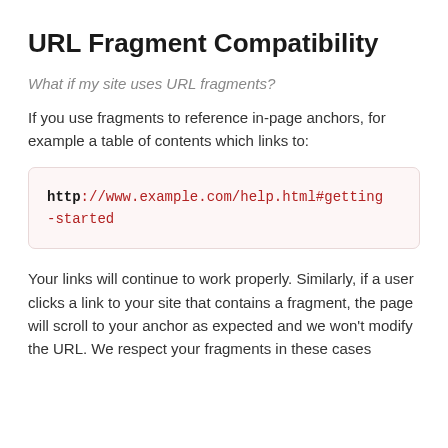URL Fragment Compatibility
What if my site uses URL fragments?
If you use fragments to reference in-page anchors, for example a table of contents which links to:
http://www.example.com/help.html#getting-started
Your links will continue to work properly. Similarly, if a user clicks a link to your site that contains a fragment, the page will scroll to your anchor as expected and we won't modify the URL. We respect your fragments in these cases